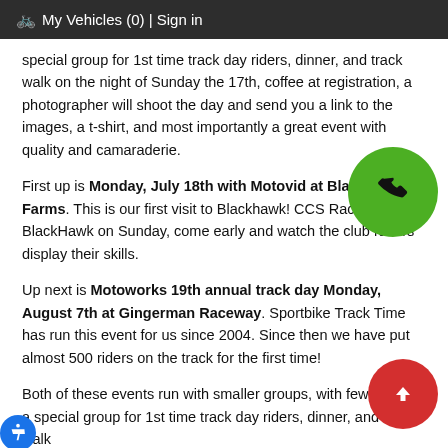🚲 My Vehicles (0) | Sign in
special group for 1st time track day riders, dinner, and track walk on the night of Sunday the 17th, coffee at registration, a photographer will shoot the day and send you a link to the images, a t-shirt, and most importantly a great event with quality and camaraderie.
First up is Monday, July 18th with Motovid at BlackHawk Farms. This is our first visit to Blackhawk! CCS Racing is at BlackHawk on Sunday, come early and watch the club racers display their skills.
Up next is Motoworks 19th annual track day Monday, August 7th at Gingerman Raceway. Sportbike Track Time has run this event for us since 2004. Since then we have put almost 500 riders on the track for the first time!
Both of these events run with smaller groups, with fewer riders, a special group for 1st time track day riders, dinner, and track walk